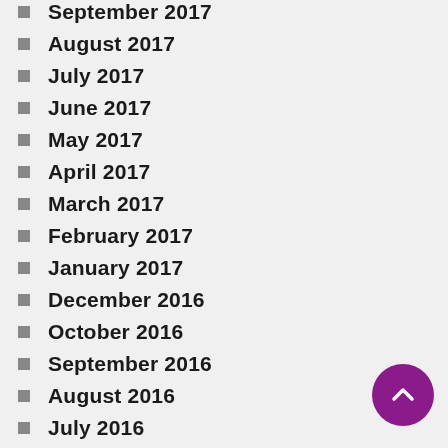September 2017
August 2017
July 2017
June 2017
May 2017
April 2017
March 2017
February 2017
January 2017
December 2016
October 2016
September 2016
August 2016
July 2016
June 2016
May 2016
April 2016